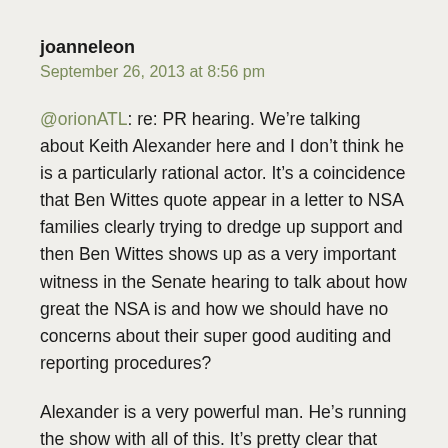joanneleon
September 26, 2013 at 8:56 pm
@orionATL: re: PR hearing. We’re talking about Keith Alexander here and I don’t think he is a particularly rational actor. It’s a coincidence that Ben Wittes quote appear in a letter to NSA families clearly trying to dredge up support and then Ben Wittes shows up as a very important witness in the Senate hearing to talk about how great the NSA is and how we should have no concerns about their super good auditing and reporting procedures?
Alexander is a very powerful man. He’s running the show with all of this. It’s pretty clear that he’s very determined to counter